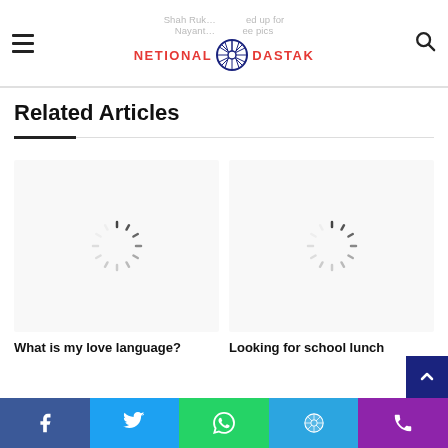Shah Ruk... ed up for Nayant... ee pics | NETIONAL DASTAK
Related Articles
[Figure (illustration): Loading spinner (circular dashed spinner icon) for article image placeholder - left article card]
What is my love language?
[Figure (illustration): Loading spinner (circular dashed spinner icon) for article image placeholder - right article card]
Looking for school lunch
Facebook | Twitter | WhatsApp | Telegram | Phone